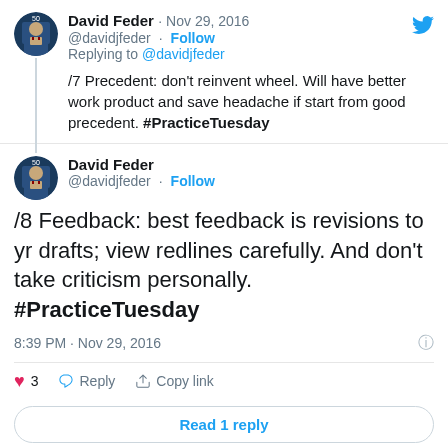David Feder · Nov 29, 2016
@davidjfeder · Follow
Replying to @davidjfeder
/7 Precedent: don't reinvent wheel. Will have better work product and save headache if start from good precedent. #PracticeTuesday
David Feder
@davidjfeder · Follow
/8 Feedback: best feedback is revisions to yr drafts; view redlines carefully. And don't take criticism personally. #PracticeTuesday
8:39 PM · Nov 29, 2016
3  Reply  Copy link
Read 1 reply